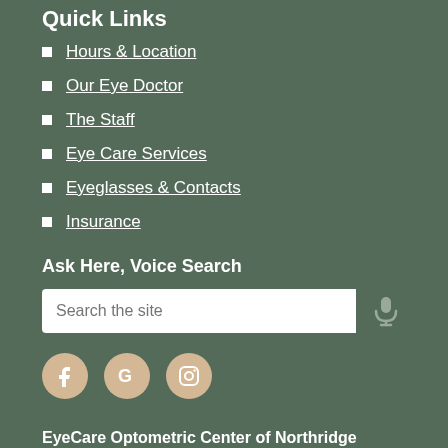Quick Links
Hours & Location
Our Eye Doctor
The Staff
Eye Care Services
Eyeglasses & Contacts
Insurance
Ask Here, Voice Search
[Figure (other): Search input field with placeholder text 'Search the site' and a microphone icon]
[Figure (other): Social media icons: Facebook, Google, Instagram in tan/beige circles]
EyeCare Optometric Center of Northridge
9036 Balboa Blvd.,